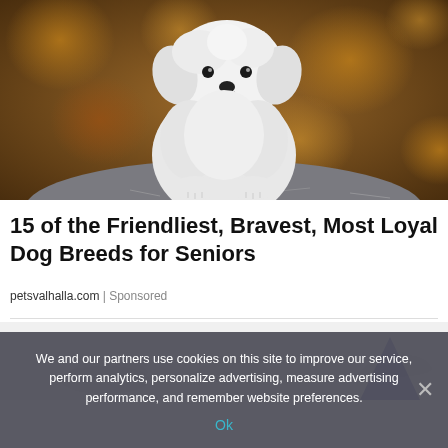[Figure (photo): A small white fluffy puppy (Maltese or similar breed) sitting on a grey stone surface, with a warm blurred brown/orange bokeh background.]
15 of the Friendliest, Bravest, Most Loyal Dog Breeds for Seniors
petsvalhalla.com | Sponsored
[Figure (photo): Partially visible next article image strip showing shoe/product silhouettes on a light background.]
We and our partners use cookies on this site to improve our service, perform analytics, personalize advertising, measure advertising performance, and remember website preferences.